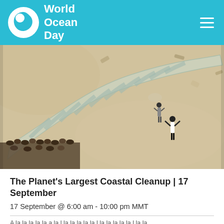World Ocean Day
[Figure (photo): Aerial view of a large plastic bottle shape made of plastic bottles arranged on a sandy beach, with people standing nearby forming the scene, crowd visible at bottom-left]
The Planet's Largest Coastal Cleanup | 17 September
17 September @ 6:00 am - 10:00 pm MMT
A la la la la la a la l la la la la la l la la la la la l la la